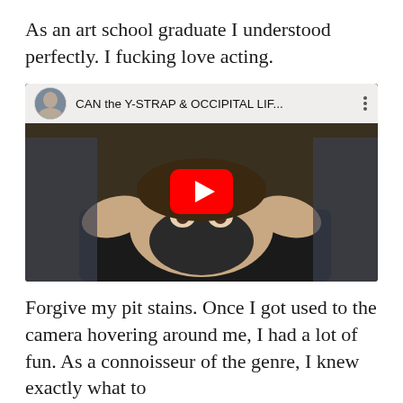As an art school graduate I understood perfectly. I fucking love acting.
[Figure (screenshot): YouTube video thumbnail showing a person lying on their back wearing a black face mask, with hands around their head/neck area. The video title reads 'CAN the Y-STRAP & OCCIPITAL LIF...' with a circular avatar photo of a bald man. A red YouTube play button is centered on the image.]
Forgive my pit stains. Once I got used to the camera hovering around me, I had a lot of fun. As a connoisseur of the genre, I knew exactly what to